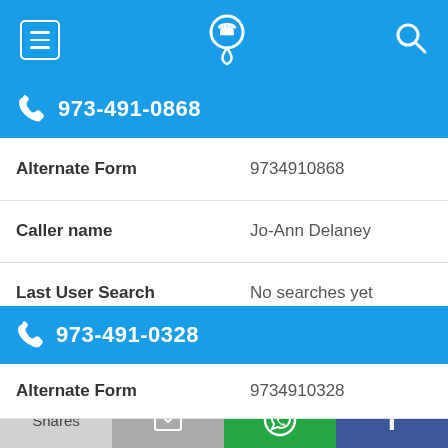Navigation bar with menu, phone/location icon, and search icon
973-491-0868
| Field | Value |
| --- | --- |
| Alternate Form | 9734910868 |
| Caller name | Jo-Ann Delaney |
| Last User Search | No searches yet |
| Comments | 0 |
973-491-0328
| Field | Value |
| --- | --- |
| Alternate Form | 9734910328 |
Shares | [email icon] | [WhatsApp icon] | [Facebook icon]